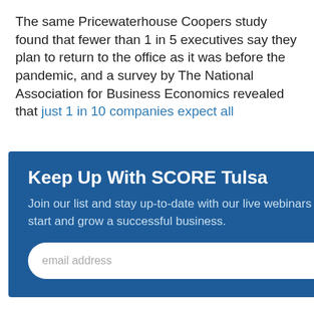The same Pricewaterhouse Coopers study found that fewer than 1 in 5 executives say they plan to return to the office as it was before the pandemic, and a survey by The National Association for Business Economics revealed that just 1 in 10 companies expect all
[Figure (screenshot): Modal popup overlay with dark blue background. Title: 'Keep Up With SCORE Tulsa'. Body text: 'Join our list and stay up-to-date with our live webinars designed to help you start and grow a successful business.' Email input field with placeholder 'email address' and a blue SUBMIT button.]
person workplace.
Key Considerations